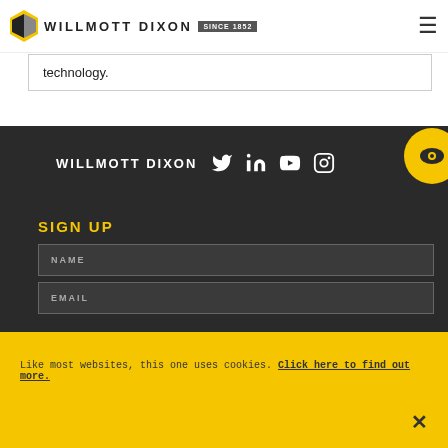WILLMOTT DIXON SINCE 1852
technology.
[Figure (logo): Willmott Dixon logo with social media icons: Twitter, LinkedIn, YouTube, Instagram on dark background]
SIGN UP
NAME
EMAIL
Like most websites, this one uses cookies. Click here to find out more.